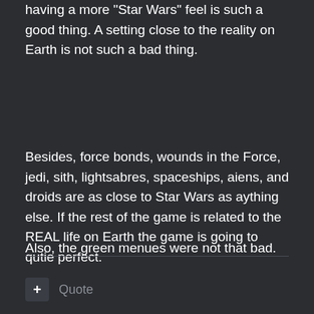having a more "Star Wars" feel is such a good thing. A setting close to the reality on Earth is not such a bad thing.
Besides, force bonds, wounds in the Force, jedi, sith, lightsabres, spaceships, aiens, and droids are as close to Star Wars as aything else. If the rest of the game is related to the REAL life on Earth the game is going to qutie perfect.
Also, the green menues were not that bad.
+ Quote